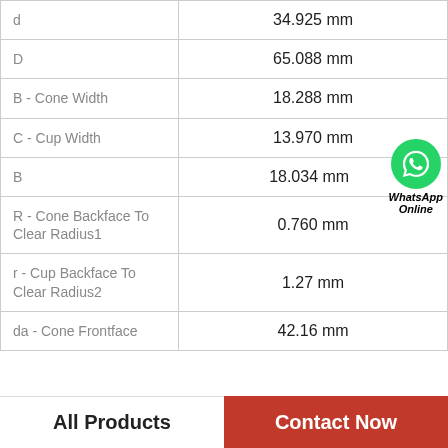| Parameter | Value |
| --- | --- |
| d | 34.925 mm |
| D | 65.088 mm |
| B - Cone Width | 18.288 mm |
| C - Cup Width | 13.970 mm |
| B | 18.034 mm |
| R - Cone Backface To Clear Radius1 | 0.760 mm |
| r - Cup Backface To Clear Radius2 | 1.27 mm |
| da - Cone Frontface | 42.16 mm |
[Figure (logo): WhatsApp Online button with green phone icon]
All Products
Contact Now